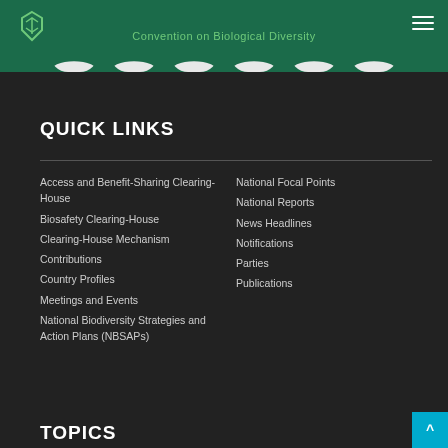Convention on Biological Diversity
QUICK LINKS
Access and Benefit-Sharing Clearing-House
Biosafety Clearing-House
Clearing-House Mechanism
Contributions
Country Profiles
Meetings and Events
National Biodiversity Strategies and Action Plans (NBSAPs)
National Focal Points
National Reports
News Headlines
Notifications
Parties
Publications
TOPICS
Business, Women, Youth and other